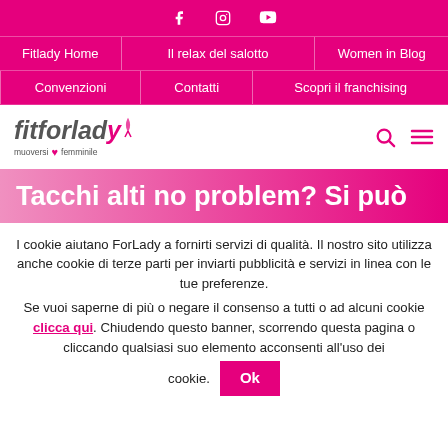Social icons: Facebook, Instagram, YouTube
Fitlady Home | Il relax del salotto | Women in Blog | Convenzioni | Contatti | Scopri il franchising
[Figure (logo): Fitforlady logo with tagline 'muoversi al femminile' with search and menu icons]
Tacchi alti no problem? Si può
I cookie aiutano ForLady a fornirti servizi di qualità. Il nostro sito utilizza anche cookie di terze parti per inviarti pubblicità e servizi in linea con le tue preferenze. Se vuoi saperne di più o negare il consenso a tutti o ad alcuni cookie clicca qui. Chiudendo questo banner, scorrendo questa pagina o cliccando qualsiasi suo elemento acconsenti all'uso dei cookie. Ok